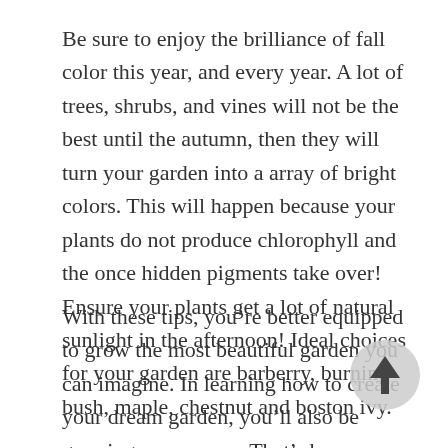Be sure to enjoy the brilliance of fall color this year, and every year. A lot of trees, shrubs, and vines will not be the best until the autumn, then they will turn your garden into a array of bright colors. This will happen because your plants do not produce chlorophyll and the once hidden pigments take over! Ensure your plants get a lot of natural sunlight in the afternoon! Ideal choices for your garden are barberry, burning bush, maple, chestnut and boston ivy.
With these tips, you’re better equipped to grow the most beautiful garden you can imagine. In learning how to create your dream garden, you’ll also be growing as a person. That’s because learning how to nurture your plants will not only help you reach the goal of having a great garden, but it will help you learn to nurture yourself.